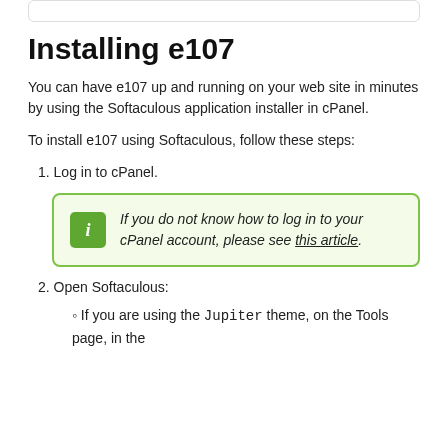Installing e107
You can have e107 up and running on your web site in minutes by using the Softaculous application installer in cPanel.
To install e107 using Softaculous, follow these steps:
1. Log in to cPanel.
If you do not know how to log in to your cPanel account, please see this article.
2. Open Softaculous:
If you are using the Jupiter theme, on the Tools page, in the